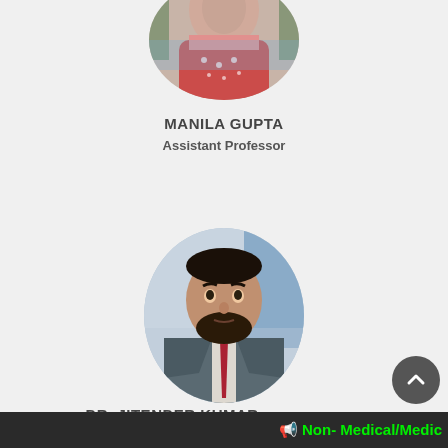[Figure (photo): Partial photo of Manila Gupta in red outfit, cropped at top]
MANILA GUPTA
Assistant Professor
[Figure (photo): Photo of Dr. Jitender Kumar in grey suit with red tie]
DR. JITENDER KUMAR
Assistant Professor
Non- Medical/Medic